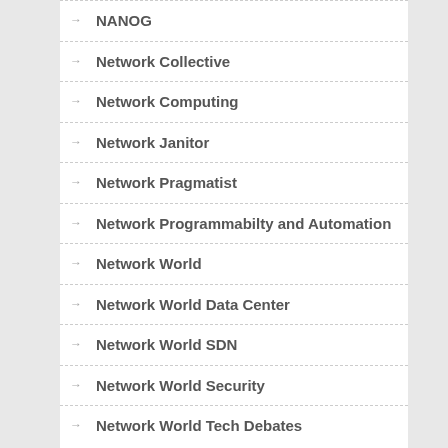NANOG
Network Collective
Network Computing
Network Janitor
Network Pragmatist
Network Programmabilty and Automation
Network World
Network World Data Center
Network World SDN
Network World Security
Network World Tech Debates